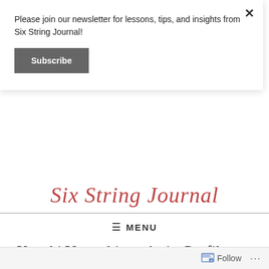Please join our newsletter for lessons, tips, and insights from Six String Journal!
[Figure (other): Subscribe button (dark grey rounded rectangle)]
[Figure (logo): Six String Journal logo text in red italic serif font, partially visible]
≡ MENU
Kanahi Yamashita – Artist Profile and Interview
PUBLISHED ON August 9, 2021
[Figure (other): Follow button with icon at bottom of page]